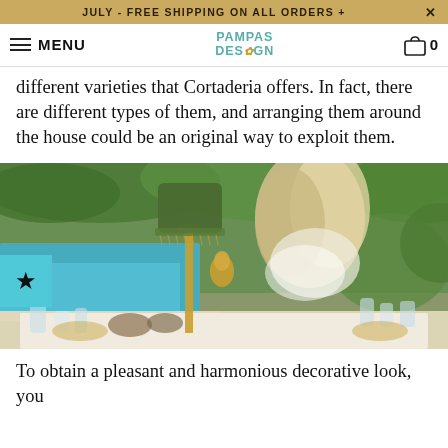JULY - FREE SHIPPING ON ALL ORDERS +
MENU | PAMPAS DESIGN | 0
different varieties that Cortaderia offers. In fact, there are different types of them, and arranging them around the house could be an original way to exploit them.
[Figure (photo): Outdoor table setting by a pool with pampas grass arrangement, gold parrot lamp, green velvet lampshade, crystal glassware, and garden background.]
To obtain a pleasant and harmonious decorative look, you